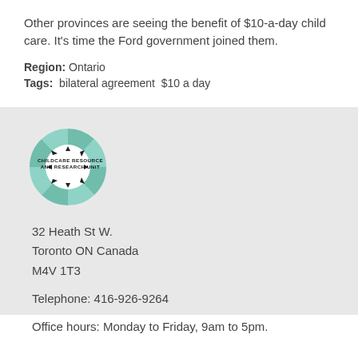Other provinces are seeing the benefit of $10-a-day child care. It's time the Ford government joined them.
Region: Ontario
Tags: bilateral agreement  $10 a day
[Figure (logo): Childcare Resource and Research Unit circular logo with children's faces and arrows, teal/green color scheme]
32 Heath St W.
Toronto ON Canada
M4V 1T3

Telephone: 416-926-9264

Office hours: Monday to Friday, 9am to 5pm.